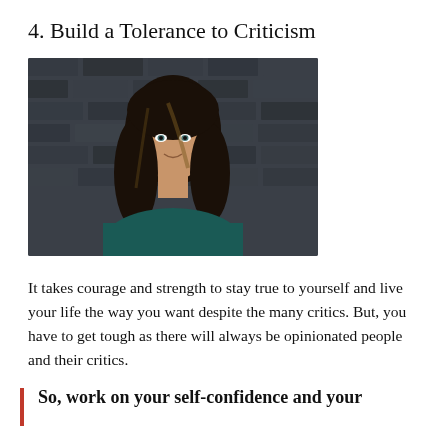4. Build a Tolerance to Criticism
[Figure (photo): A young woman with long dark wavy hair wearing a dark teal top, standing in front of a dark brick wall. She is smiling slightly and looking at the camera.]
It takes courage and strength to stay true to yourself and live your life the way you want despite the many critics. But, you have to get tough as there will always be opinionated people and their critics.
So, work on your self-confidence and your